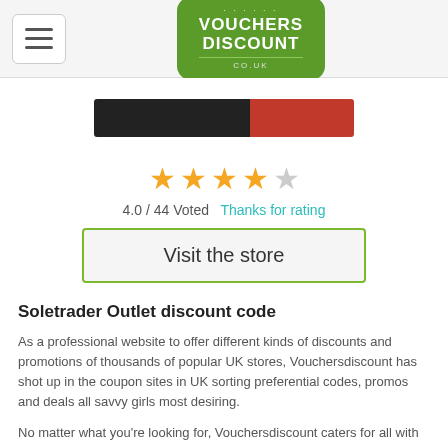[Figure (logo): Vouchers Discount co.uk green rounded rectangle logo]
[Figure (photo): Soletrader Outlet banner image with dark and red background]
[Figure (infographic): 4 out of 5 star rating display with 4 filled orange stars and 1 grey star]
4.0 / 44 Voted   Thanks for rating
Visit the store
Soletrader Outlet discount code
As a professional website to offer different kinds of discounts and promotions of thousands of popular UK stores, Vouchersdiscount has shot up in the coupon sites in UK sorting preferential codes, promos and deals all savvy girls most desiring.
No matter what you're looking for, Vouchersdiscount caters for all with an amazing range of selections. Visit Vouchersdiscount and search for the name of Soletrader Outlet to obtain discount codes and promo vouchers to rid yourself of